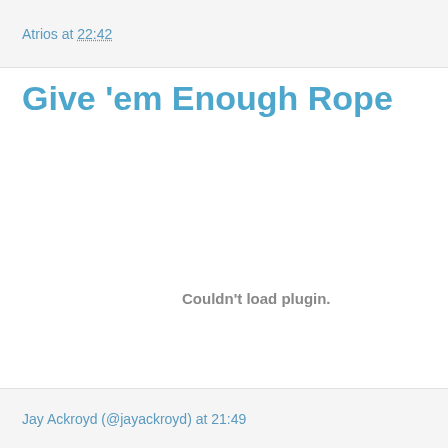Atrios at 22:42
Give 'em Enough Rope
Couldn't load plugin.
Jay Ackroyd (@jayackroyd) at 21:49